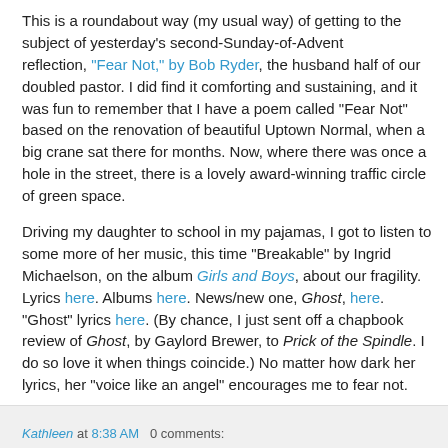This is a roundabout way (my usual way) of getting to the subject of yesterday's second-Sunday-of-Advent reflection, "Fear Not," by Bob Ryder, the husband half of our doubled pastor. I did find it comforting and sustaining, and it was fun to remember that I have a poem called "Fear Not" based on the renovation of beautiful Uptown Normal, when a big crane sat there for months. Now, where there was once a hole in the street, there is a lovely award-winning traffic circle of green space.
Driving my daughter to school in my pajamas, I got to listen to some more of her music, this time "Breakable" by Ingrid Michaelson, on the album Girls and Boys, about our fragility. Lyrics here. Albums here. News/new one, Ghost, here. "Ghost" lyrics here. (By chance, I just sent off a chapbook review of Ghost, by Gaylord Brewer, to Prick of the Spindle. I do so love it when things coincide.) No matter how dark her lyrics, her "voice like an angel" encourages me to fear not.
Kathleen at 8:38 AM   0 comments: